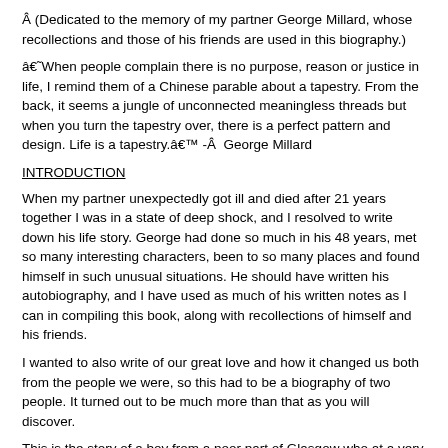Â (Dedicated to the memory of my partner George Millard, whose recollections and those of his friends are used in this biography.)
â€˜When people complain there is no purpose, reason or justice in life, I remind them of a Chinese parable about a tapestry. From the back, it seems a jungle of unconnected meaningless threads but when you turn the tapestry over, there is a perfect pattern and design. Life is a tapestry.â€™ -Â  George Millard
INTRODUCTION
When my partner unexpectedly got ill and died after 21 years together I was in a state of deep shock, and I resolved to write down his life story. George had done so much in his 48 years, met so many interesting characters, been to so many places and found himself in such unusual situations. He should have written his autobiography, and I have used as much of his written notes as I can in compiling this book, along with recollections of himself and his friends.
I wanted to also write of our great love and how it changed us both from the people we were, so this had to be a biography of two people. It turned out to be much more than that as you will discover.
This is the story of a boy from a poor part of Glasgow who at a very early age became enmeshed in a world of gay prostitution and drugs, whose parents died when he was young, and who, although deprived of a university education through circumstances, possessed a questioning,